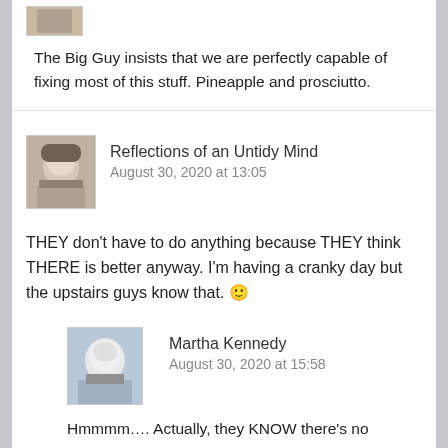[Figure (photo): User avatar thumbnail at top, partially visible]
The Big Guy insists that we are perfectly capable of fixing most of this stuff. Pineapple and prosciutto.
[Figure (photo): Avatar photo of person wearing hat and scarf - Reflections of an Untidy Mind]
Reflections of an Untidy Mind
August 30, 2020 at 13:05
THEY don't have to do anything because THEY think THERE is better anyway. I'm having a cranky day but the upstairs guys know that. 🙂
[Figure (photo): Avatar photo of Martha Kennedy - white haired person]
Martha Kennedy
August 30, 2020 at 15:58
Hmmmm…. Actually, they KNOW there's no afterlife. That's why they worry, poor angels. ❤
[Figure (photo): Partial avatar of Reflections of an Untidy Mind at bottom]
Reflections of an Untidy Mind